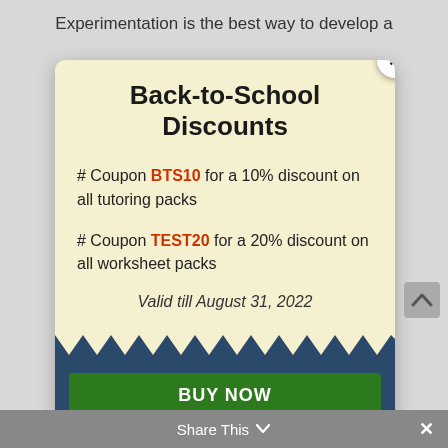Experimentation is the best way to develop a
Back-to-School Discounts
# Coupon BTS10 for a 10% discount on all tutoring packs
# Coupon TEST20 for a 20% discount on all worksheet packs
Valid till August 31, 2022
BUY NOW
Share This